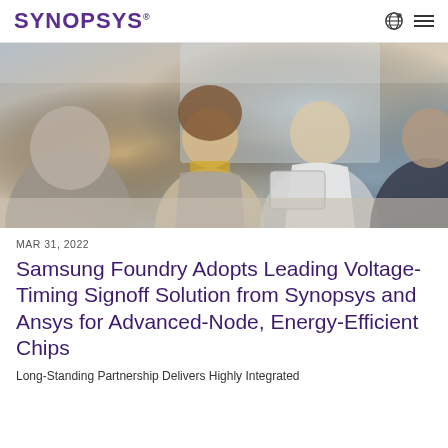SYNOPSYS
[Figure (photo): Group of people in a meeting around a table; a smiling woman in a grey blazer and yellow top, a man in a white t-shirt holding a tablet, and others partially visible, in a bright office setting.]
MAR 31, 2022
Samsung Foundry Adopts Leading Voltage-Timing Signoff Solution from Synopsys and Ansys for Advanced-Node, Energy-Efficient Chips
Long-Standing Partnership Delivers Highly Integrated